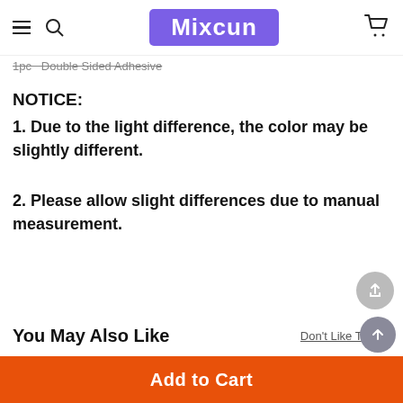Mixcun
1pc  Double Sided Adhesive
NOTICE:
1. Due to the light difference, the color may be slightly different.
2. Please allow slight differences due to manual measurement.
You May Also Like
Don't Like These?
[Figure (other): Two product cards with discount badges: 35% OFF and 50% OFF]
Add to Cart